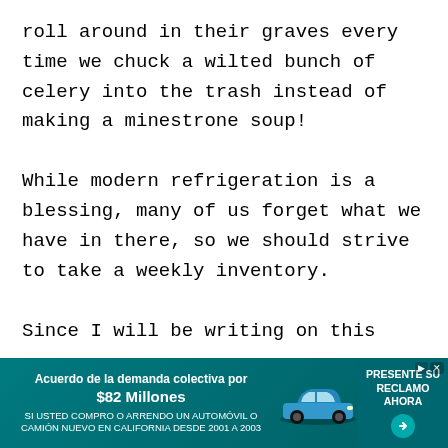roll around in their graves every time we chuck a wilted bunch of celery into the trash instead of making a minestrone soup!
While modern refrigeration is a blessing, many of us forget what we have in there, so we should strive to take a weekly inventory.
Since I will be writing on this
[Figure (other): Advertisement banner in teal/green color: 'Acuerdo de la demanda colectiva por $82 Millones. SI USTED COMPRO O ARRENDO UN AUTOMÓVIL O CAMIÓN NUEVO EN CALIFORNIA DESDE 2001 A 2003. PRESENTE SU RECLAMO AHORA' with an image of a blue car and a call-to-action button.]